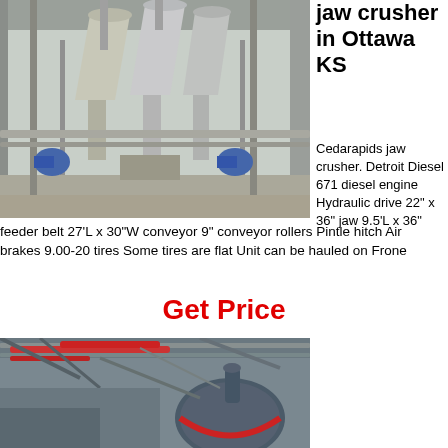[Figure (photo): Industrial crusher/mill facility interior showing large conical hoppers, steel framework, piping and blue motors in a covered industrial building]
jaw crusher in Ottawa KS
Cedarapids jaw crusher. Detroit Diesel 671 diesel engine Hydraulic drive 22" x 36" jaw 9.5'L x 36" feeder belt 27'L x 30"W conveyor 9" conveyor rollers Pintle hitch Air brakes 9.00-20 tires Some tires are flat Unit can be hauled on Frone
Get Price
[Figure (photo): Close-up interior industrial facility view showing overhead pipes, red piping, structural steel beams and large cylindrical equipment component]